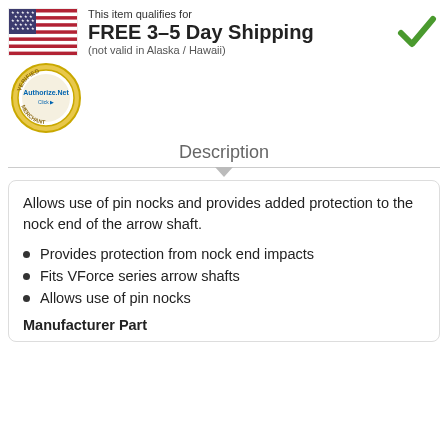[Figure (infographic): US flag and FREE 3-5 Day Shipping banner with green checkmark. Text: This item qualifies for FREE 3-5 Day Shipping (not valid in Alaska / Hawaii)]
[Figure (logo): Authorize.Net Verified Merchant seal/badge]
Description
Allows use of pin nocks and provides added protection to the nock end of the arrow shaft.
Provides protection from nock end impacts
Fits VForce series arrow shafts
Allows use of pin nocks
Manufacturer Part